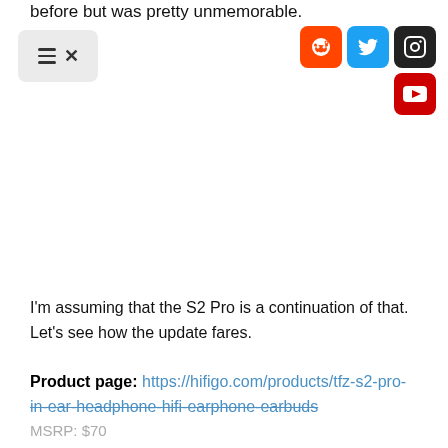before but was pretty unmemorable.
[Figure (screenshot): Navigation bar with hamburger menu and close (X) icon on left; social media icon buttons (Reddit, Twitter, Instagram, YouTube) on right]
I'm assuming that the S2 Pro is a continuation of that. Let's see how the update fares.
Product page: https://hifigo.com/products/tfz-s2-pro-in-ear-headphone-hifi-earphone-earbuds
MSRP: $70